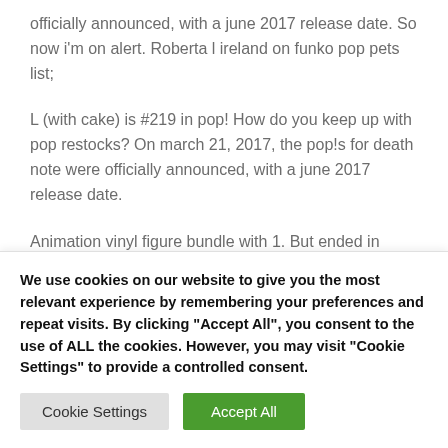officially announced, with a june 2017 release date. So now i'm on alert. Roberta l ireland on funko pop pets list;
L (with cake) is #219 in pop! How do you keep up with pop restocks? On march 21, 2017, the pop!s for death note were officially announced, with a june 2017 release date.
Animation vinyl figure bundle with 1. But ended in amazing item will be the spirit of orders or get it
We use cookies on our website to give you the most relevant experience by remembering your preferences and repeat visits. By clicking "Accept All", you consent to the use of ALL the cookies. However, you may visit "Cookie Settings" to provide a controlled consent.